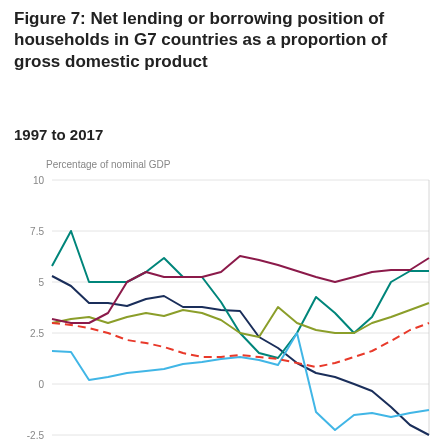Figure 7: Net lending or borrowing position of households in G7 countries as a proportion of gross domestic product
1997 to 2017
[Figure (line-chart): Multi-line chart showing net lending or borrowing position of households in G7 countries as a proportion of GDP from 1997 to 2017. Lines represent different G7 countries. Y-axis ranges from approximately -2.5 to 10. Several lines visible: dark navy, teal/green, light blue, olive/yellow-green, dark maroon/purple, red dashed, and sky blue.]